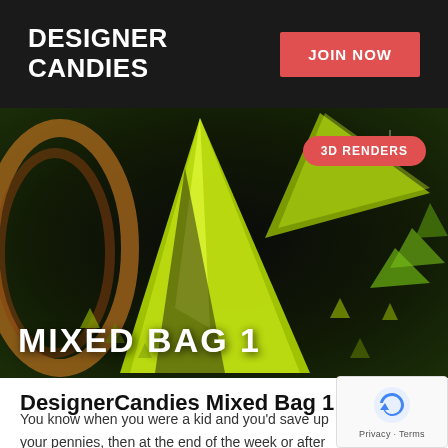DESIGNER CANDIES
JOIN NOW
[Figure (photo): 3D renders promotional image showing glowing yellow-green crystal/gem shapes and abstract 3D objects on a dark background, with '3D RENDERS' badge and 'MIXED BAG 1' text overlay]
DesignerCandies Mixed Bag 1
You know when you were a kid and you'd save up your pennies, then at the end of the week or after school yo take them to the